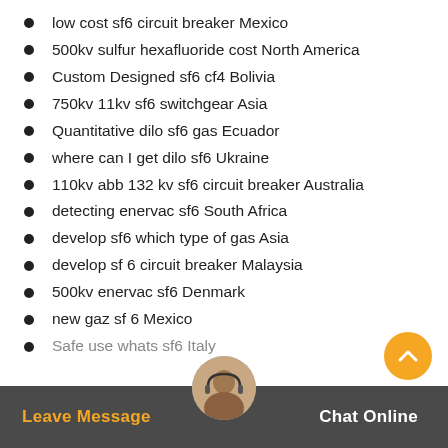low cost sf6 circuit breaker Mexico
500kv sulfur hexafluoride cost North America
Custom Designed sf6 cf4 Bolivia
750kv 11kv sf6 switchgear Asia
Quantitative dilo sf6 gas Ecuador
where can I get dilo sf6 Ukraine
110kv abb 132 kv sf6 circuit breaker Australia
detecting enervac sf6 South Africa
develop sf6 which type of gas Asia
develop sf 6 circuit breaker Malaysia
500kv enervac sf6 Denmark
new gaz sf 6 Mexico
Safe use whats sf6 Italy
Leave Message   Chat Online